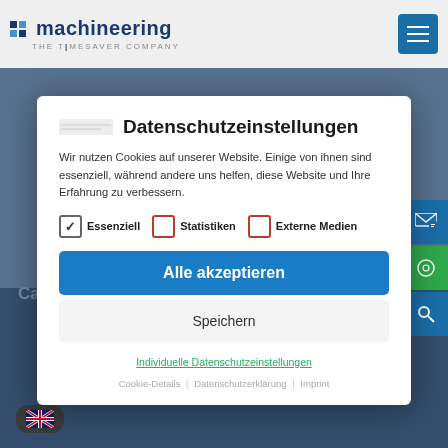[Figure (screenshot): Machineering website header with logo and hamburger menu button]
Datenschutzeinstellungen
Wir nutzen Cookies auf unserer Website. Einige von ihnen sind essenziell, während andere uns helfen, diese Website und Ihre Erfahrung zu verbessern.
Essenziell  Statistiken  Externe Medien
Alle akzeptieren
Speichern
Individuelle Datenschutzeinstellungen
Cookie-Details | Datenschutzerklärung | Imprint